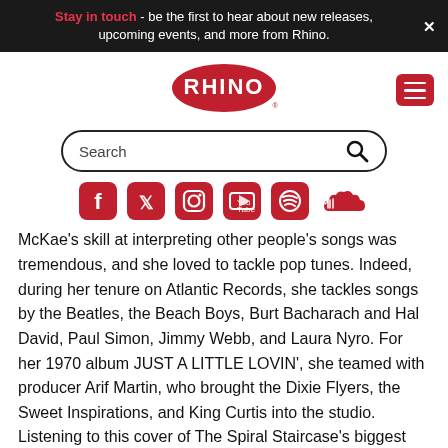Stay in touch - be the first to hear about new releases, upcoming events, and more from Rhino.
[Figure (logo): Rhino Records red oval logo with white RHINO text]
[Figure (screenshot): Search bar with magnifying glass icon]
[Figure (infographic): Social media icons: Facebook, Twitter, Instagram, YouTube, Spotify, SoundCloud — all in red]
McKae's skill at interpreting other people's songs was tremendous, and she loved to tackle pop tunes. Indeed, during her tenure on Atlantic Records, she tackles songs by the Beatles, the Beach Boys, Burt Bacharach and Hal David, Paul Simon, Jimmy Webb, and Laura Nyro. For her 1970 album JUST A LITTLE LOVIN', she teamed with producer Arif Martin, who brought the Dixie Flyers, the Sweet Inspirations, and King Curtis into the studio. Listening to this cover of The Spiral Staircase's biggest hit, you can tell just how well it worked.
Rush, “Heart Full of Soul” (2004): For all the